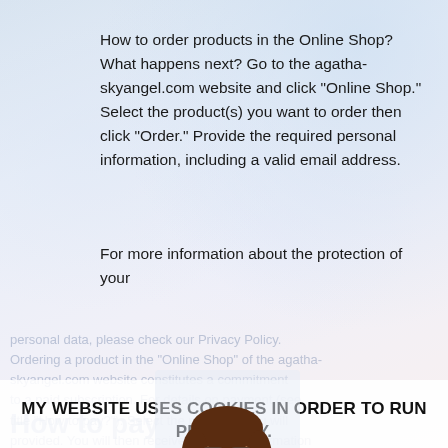How to order products in the Online Shop? What happens next? Go to the agatha-skyangel.com website and click "Online Shop." Select the product(s) you want to order then click "Order." Provide the required personal information, including a valid email address.
For more information about the protection of your
[Figure (photo): Woman smiling with glasses, hands clasped, white top]
MY WEBSITE USES COOKIES IN ORDER TO RUN PROPERLY.
To carry on browsing, you need to accept my Privacy Policy and agree to receive offers from partners of this website.
I agree